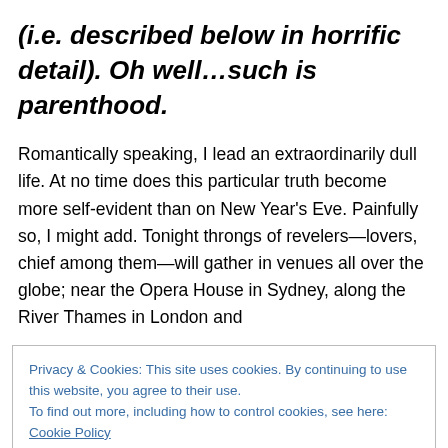(i.e. described below in horrific detail). Oh well…such is parenthood.
Romantically speaking, I lead an extraordinarily dull life. At no time does this particular truth become more self-evident than on New Year's Eve. Painfully so, I might add. Tonight throngs of revelers—lovers, chief among them—will gather in venues all over the globe; near the Opera House in Sydney, along the River Thames in London and
Privacy & Cookies: This site uses cookies. By continuing to use this website, you agree to their use.
To find out more, including how to control cookies, see here: Cookie Policy
Close and accept